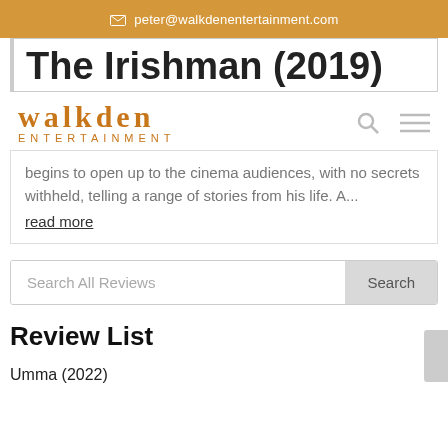peter@walkdenentertainment.com
The Irishman (2019)
[Figure (logo): Walkden Entertainment logo with search and menu icons]
begins to open up to the cinema audiences, with no secrets withheld, telling a range of stories from his life. A...
read more
Search All Reviews
Review List
Umma (2022)